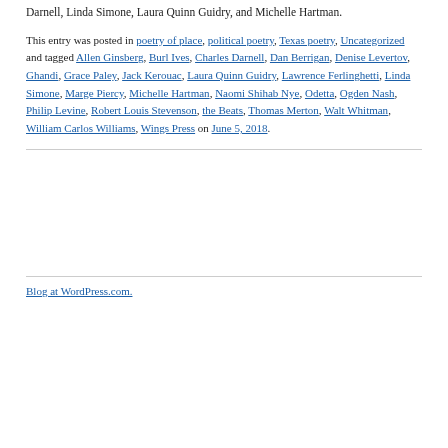Darnell, Linda Simone, Laura Quinn Guidry, and Michelle Hartman.
This entry was posted in poetry of place, political poetry, Texas poetry, Uncategorized and tagged Allen Ginsberg, Burl Ives, Charles Darnell, Dan Berrigan, Denise Levertov, Ghandi, Grace Paley, Jack Kerouac, Laura Quinn Guidry, Lawrence Ferlinghetti, Linda Simone, Marge Piercy, Michelle Hartman, Naomi Shihab Nye, Odetta, Ogden Nash, Philip Levine, Robert Louis Stevenson, the Beats, Thomas Merton, Walt Whitman, William Carlos Williams, Wings Press on June 5, 2018.
Blog at WordPress.com.